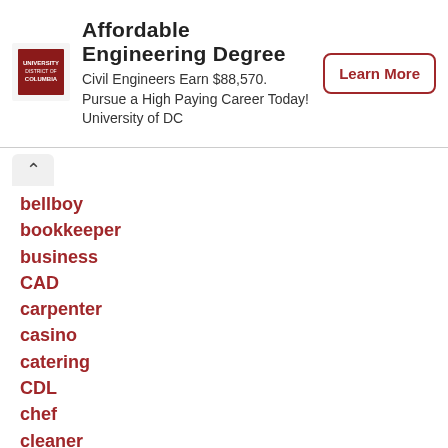[Figure (other): University of District of Columbia logo]
Affordable Engineering Degree
Civil Engineers Earn $88,570. Pursue a High Paying Career Today! University of DC
Learn More
bellboy
bookkeeper
business
CAD
carpenter
casino
catering
CDL
chef
cleaner
cleaning
clerical
commerce
concierge
construction
consultant
customer service
cyber security
data